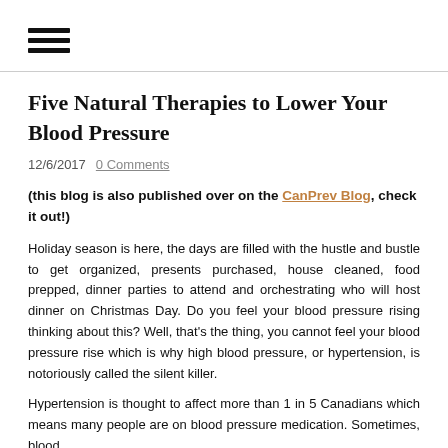[Figure (other): Hamburger menu icon (three horizontal lines)]
Five Natural Therapies to Lower Your Blood Pressure
12/6/2017   0 Comments
(this blog is also published over on the CanPrev Blog, check it out!)
Holiday season is here, the days are filled with the hustle and bustle to get organized, presents purchased, house cleaned, food prepped, dinner parties to attend and orchestrating who will host dinner on Christmas Day. Do you feel your blood pressure rising thinking about this? Well, that's the thing, you cannot feel your blood pressure rise which is why high blood pressure, or hypertension, is notoriously called the silent killer.
Hypertension is thought to affect more than 1 in 5 Canadians which means many people are on blood pressure medication. Sometimes, blood